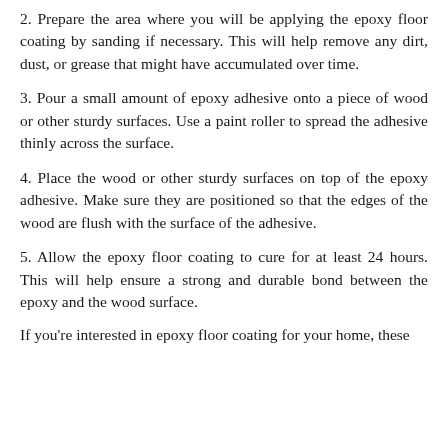2. Prepare the area where you will be applying the epoxy floor coating by sanding if necessary. This will help remove any dirt, dust, or grease that might have accumulated over time.
3. Pour a small amount of epoxy adhesive onto a piece of wood or other sturdy surfaces. Use a paint roller to spread the adhesive thinly across the surface.
4. Place the wood or other sturdy surfaces on top of the epoxy adhesive. Make sure they are positioned so that the edges of the wood are flush with the surface of the adhesive.
5. Allow the epoxy floor coating to cure for at least 24 hours. This will help ensure a strong and durable bond between the epoxy and the wood surface.
If you're interested in epoxy floor coating for your home, these